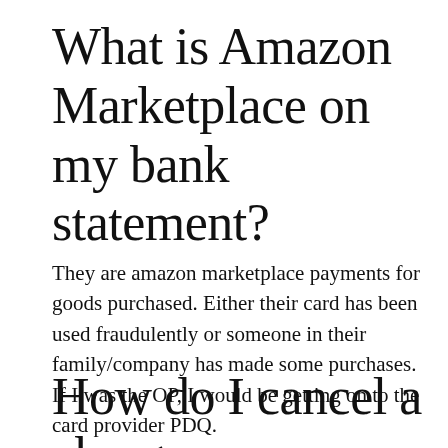What is Amazon Marketplace on my bank statement?
They are amazon marketplace payments for goods purchased. Either their card has been used fraudulently or someone in their family/company has made some purchases. If I was the OP, I would be getting on to the card provider PDQ.
How do I cancel a charge on Amazon?